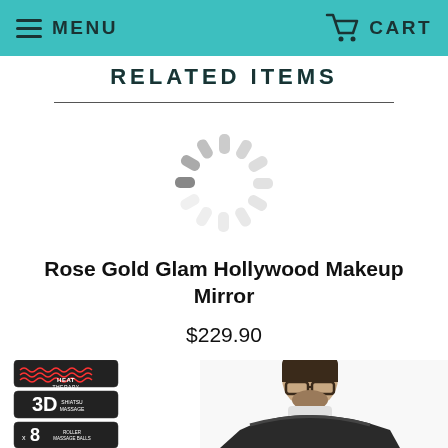MENU   CART
RELATED ITEMS
[Figure (illustration): Loading spinner / activity indicator graphic, circular with radiating dashes in light gray]
Rose Gold Glam Hollywood Makeup Mirror
$229.90
[Figure (photo): Product badges (Heat Therapy, 3D Shiatsu Massage, x8 Roller Massage Balls) and a man wearing a neck massager device]